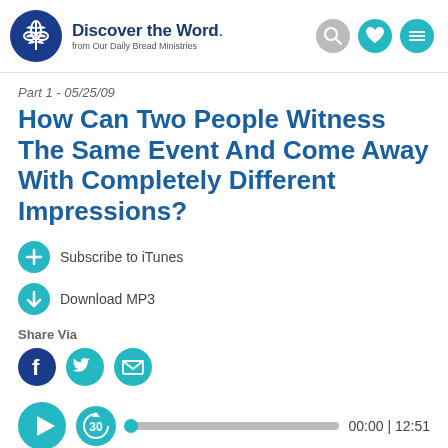Discover the Word. from Our Daily Bread Ministries
Part 1 - 05/25/09
How Can Two People Witness The Same Event And Come Away With Completely Different Impressions?
Subscribe to iTunes
Download MP3
Share Via
00:00 | 12:51